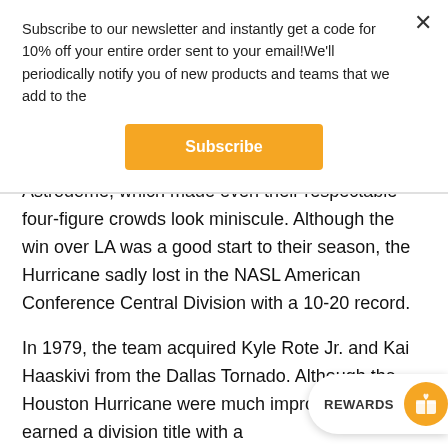Subscribe to our newsletter and instantly get a code for 10% off your entire order sent to your email!We'll periodically notify you of new products and teams that we add to the
Subscribe
Astrodome, which made even their respectable four-figure crowds look miniscule. Although the win over LA was a good start to their season, the Hurricane sadly lost in the NASL American Conference Central Division with a 10-20 record.
In 1979, the team acquired Kyle Rote Jr. and Kai Haaskivi from the Dallas Tornado. Although the Houston Hurricane were much improved and earned a division title with a 22... beat out by the Philadelphia Fury in the 1979...